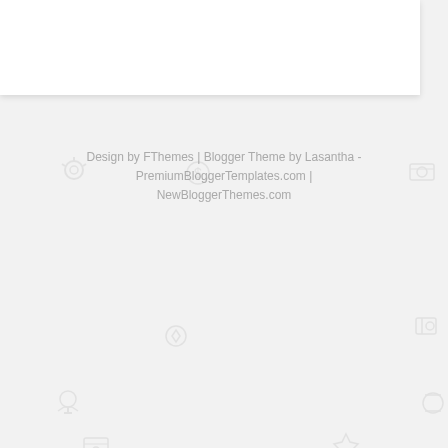[Figure (other): White content box at top of page, partially visible]
Design by FThemes | Blogger Theme by Lasantha - PremiumBloggerTemplates.com | NewBloggerThemes.com